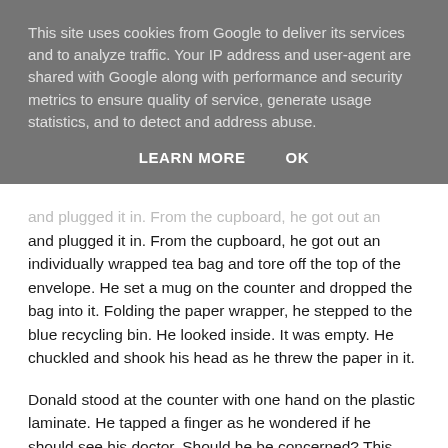This site uses cookies from Google to deliver its services and to analyze traffic. Your IP address and user-agent are shared with Google along with performance and security metrics to ensure quality of service, generate usage statistics, and to detect and address abuse.
LEARN MORE   OK
and plugged it in. From the cupboard, he got out an individually wrapped tea bag and tore off the top of the envelope. He set a mug on the counter and dropped the bag into it. Folding the paper wrapper, he stepped to the blue recycling bin. He looked inside. It was empty. He chuckled and shook his head as he threw the paper in it.
Donald stood at the counter with one hand on the plastic laminate. He tapped a finger as he wondered if he should see his doctor. Should he be concerned? This had never happened before. Was this one of those cases where somebody ignores the early warning signs of an impending medical emergency like a heart attack and ends up dying?